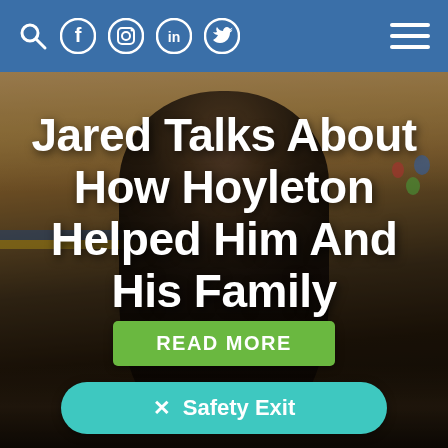Navigation bar with search, Facebook, Instagram, LinkedIn, Twitter icons and hamburger menu
[Figure (photo): A man wearing glasses and a black t-shirt smiling in what appears to be a gymnasium with tables, chairs, and balloons visible in the background. The image has a dark overlay.]
Jared Talks About How Hoyleton Helped Him And His Family
READ MORE
✕  Safety Exit